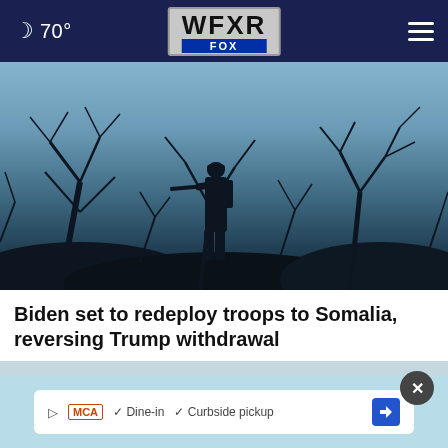🌙 70° | WFXR FOX
[Figure (photo): Silhouette of a soldier holding a rifle standing among bare tree branches against a blue-gray twilight sky]
Biden set to redeploy troops to Somalia, reversing Trump withdrawal
[Figure (screenshot): Advertisement banner showing McAlister's Deli with Dine-in and Curbside pickup options, with a Google Maps direction arrow icon]